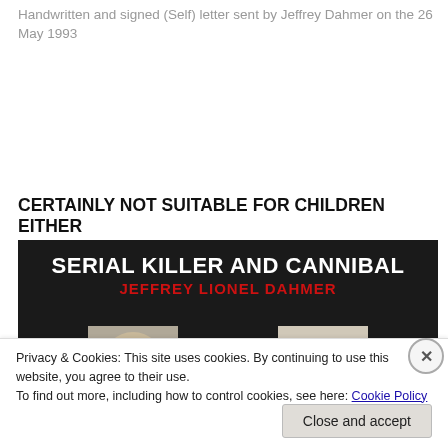Handwritten and signed (Self) letter sent by Jeffrey Dahmer on the 26 May 1993
CERTAINLY NOT SUITABLE FOR CHILDREN EITHER
[Figure (screenshot): Screenshot of a webpage about Jeffrey Dahmer titled 'SERIAL KILLER AND CANNIBAL' with subtitle 'JEFFREY LIONEL DAHMER', showing a signature box reading 'Jeffrey Dahmer' and partial facial photos, overlaid with a cookie consent notice and a 'Close and accept' button.]